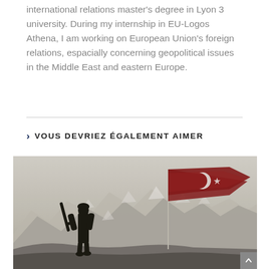international relations master's degree in Lyon 3 university. During my internship in EU-Logos Athena, I am working on European Union's foreign relations, espacially concerning geopolitical issues in the Middle East and eastern Europe.
> VOUS DEVRIEZ ÉGALEMENT AIMER
[Figure (photo): A silhouette of a soldier carrying a rifle standing next to a Turkish flag on a flagpole, with snow-capped mountains in the background. The image has a muted, desaturated tone.]